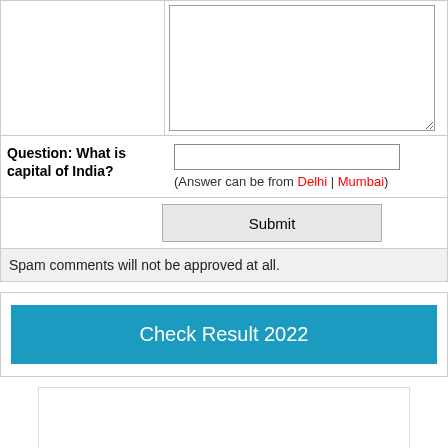[Figure (screenshot): Comment form textarea (empty, top portion visible)]
Question: What is capital of India?
(Answer can be from Delhi | Mumbai)
Submit
Spam comments will not be approved at all.
Check Result 2022
[Figure (other): Advertisement box (empty white box with border)]